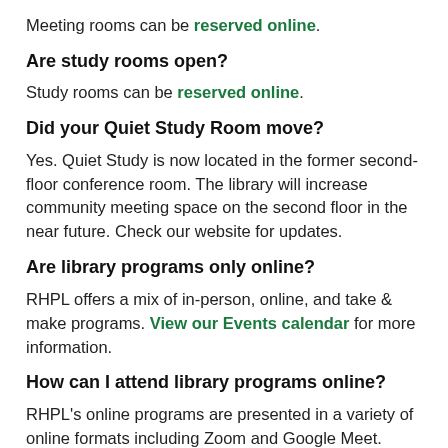Meeting rooms can be reserved online.
Are study rooms open?
Study rooms can be reserved online.
Did your Quiet Study Room move?
Yes. Quiet Study is now located in the former second-floor conference room. The library will increase community meeting space on the second floor in the near future. Check our website for updates.
Are library programs only online?
RHPL offers a mix of in-person, online, and take & make programs. View our Events calendar for more information.
How can I attend library programs online?
RHPL's online programs are presented in a variety of online formats including Zoom and Google Meet. Registration with an email address